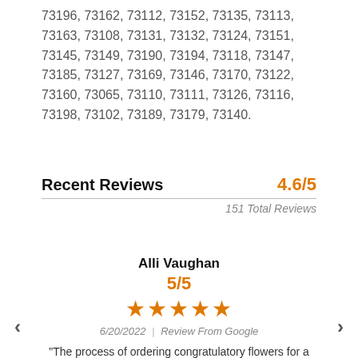73196, 73162, 73112, 73152, 73135, 73113, 73163, 73108, 73131, 73132, 73124, 73151, 73145, 73149, 73190, 73194, 73118, 73147, 73185, 73127, 73169, 73146, 73170, 73122, 73160, 73065, 73110, 73111, 73126, 73116, 73198, 73102, 73189, 73179, 73140.
Recent Reviews
4.6/5
151 Total Reviews
Alli Vaughan
5/5
6/20/2022 | Review From Google
"The process of ordering congratulatory flowers for a local OKC business was so smooth and easy! There were plenty of options to chose from and I loved that I received confirmation right after I ordere…